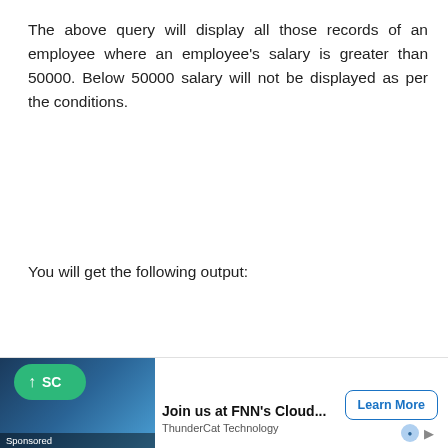The above query will display all those records of an employee where an employee's salary is greater than 50000. Below 50000 salary will not be displayed as per the conditions.
You will get the following output:
[Figure (screenshot): Advertisement bar at the bottom of the page. Contains a green scroll-to-top button labeled '↑ SC', an ad image with 'Sponsored' label, text 'Join us at FNN's Cloud...' with 'ThunderCat Technology' below, and a 'Learn More' button.]